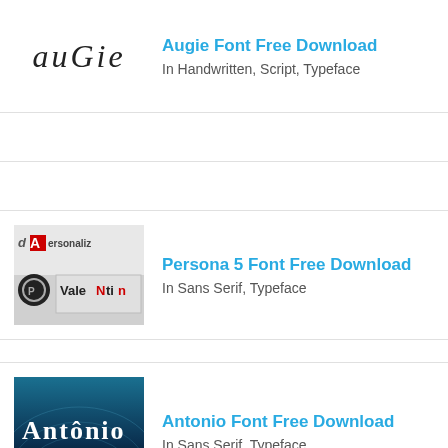[Figure (illustration): Augie font logo showing the word 'augie' in a handwritten italic style]
Augie Font Free Download
In Handwritten, Script, Typeface
[Figure (illustration): Persona 5 font preview image showing stylized text with red and black design elements]
Persona 5 Font Free Download
In Sans Serif, Typeface
[Figure (illustration): Antonio font preview showing the word 'Antônio' in white serif text on a dark blue/black background]
Antonio Font Free Download
In Sans Serif, Typeface